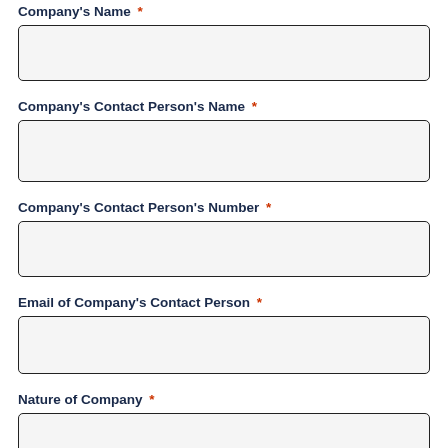Company's Name *
Company's Contact Person's Name *
Company's Contact Person's Number *
Email of Company's Contact Person *
Nature of Company *